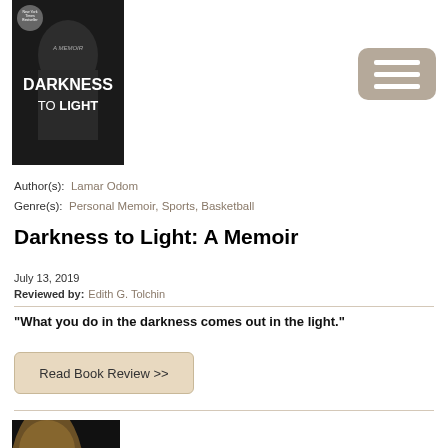[Figure (photo): Book cover for 'Darkness to Light: A Memoir' by Lamar Odom — dark cover with author's face in shadow, white and grey text]
[Figure (other): Hamburger menu button — grey rounded rectangle with three white horizontal lines]
Author(s): Lamar Odom
Genre(s): Personal Memoir, Sports, Basketball
Darkness to Light: A Memoir
July 13, 2019
Reviewed by: Edith G. Tolchin
“What you do in the darkness comes out in the light.”
Read Book Review >>
[Figure (photo): Book cover for 'LeBron, Inc.: The Making of a Billion-Dollar Athlete' — dark cover with athlete's face, yellow and white text]